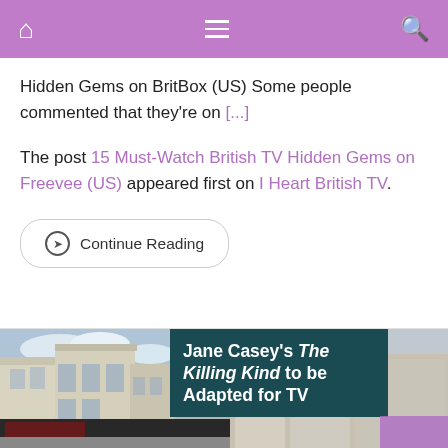Navigation bar with home, menu, and search icons
Hidden Gems on BritBox (US) Some people commented that they're on [...]
The post 15 Must-Watch British TV Hidden Gems on Freevee (US) appeared first on I Heart British TV.
Continue Reading
[Figure (photo): Street scene showing Victorian/Georgian style buildings in London, with a dark teal overlay panel containing bold white text: Jane Casey's The Killing Kind to be Adapted for TV]